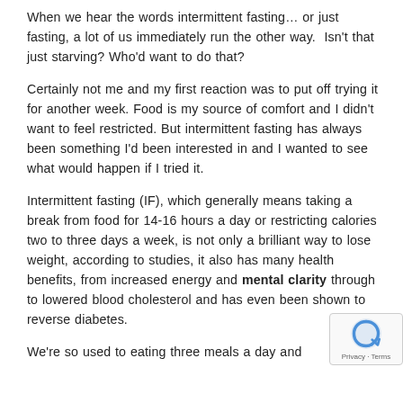When we hear the words intermittent fasting… or just fasting, a lot of us immediately run the other way.  Isn't that just starving? Who'd want to do that?
Certainly not me and my first reaction was to put off trying it for another week. Food is my source of comfort and I didn't want to feel restricted. But intermittent fasting has always been something I'd been interested in and I wanted to see what would happen if I tried it.
Intermittent fasting (IF), which generally means taking a break from food for 14-16 hours a day or restricting calories two to three days a week, is not only a brilliant way to lose weight, according to studies, it also has many health benefits, from increased energy and mental clarity through to lowered blood cholesterol and has even been shown to reverse diabetes.
We're so used to eating three meals a day and